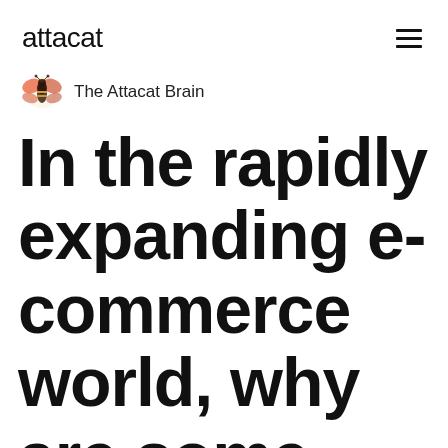attacat
The Attacat Brain
In the rapidly expanding e-commerce world, why are some companies